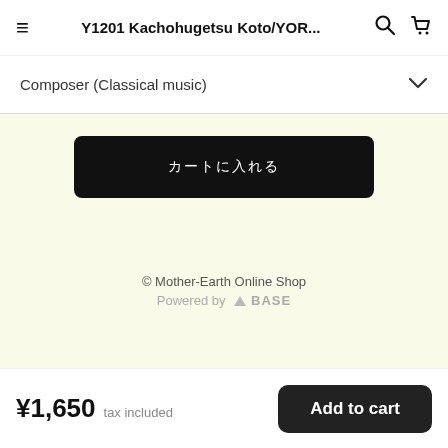Y1201 Kachohugetsu Koto/YOR...
Composer (Classical music)
[Figure (screenshot): Black rounded rectangle button with Japanese characters in white text (カートに入れる style add-to-cart button)]
© Mother-Earth Online Shop
Powered by BASE
¥1,650 tax included   Add to cart